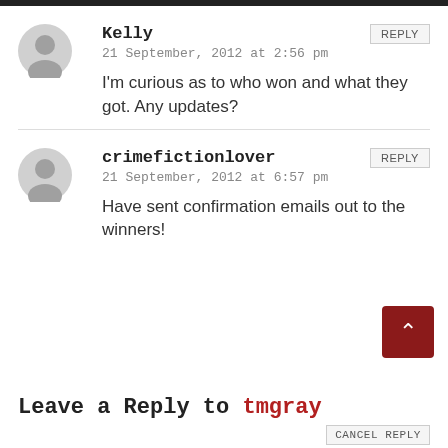Kelly
21 September, 2012 at 2:56 pm
I'm curious as to who won and what they got. Any updates?
crimefictionlover
21 September, 2012 at 6:57 pm
Have sent confirmation emails out to the winners!
Leave a Reply to tmgray
CANCEL REPLY